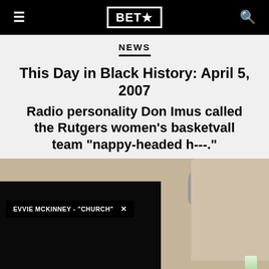BET★
NEWS
This Day in Black History: April 5, 2007
Radio personality Don Imus called the Rutgers women's basketball team "nappy-headed h---."
[Figure (photo): Photo of a radio studio with a microphone and person, overlaid with a video player UI showing 'EVVIE MCKINNEY - "CHURCH"' with a close button]